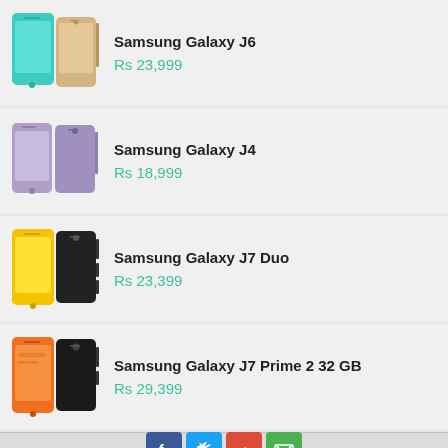[Figure (photo): Samsung Galaxy J6 product image showing two phones]
Samsung Galaxy J6
Rs 23,999
[Figure (photo): Samsung Galaxy J4 product image showing two phones in purple/lavender]
Samsung Galaxy J4
Rs 18,999
[Figure (photo): Samsung Galaxy J7 Duo product image showing two phones in yellow and black]
Samsung Galaxy J7 Duo
Rs 23,399
[Figure (photo): Samsung Galaxy J7 Prime 2 32 GB product image showing two phones in orange and black]
Samsung Galaxy J7 Prime 2 32 GB
Rs 29,399
Social share buttons: Facebook, Twitter, Google+, Email